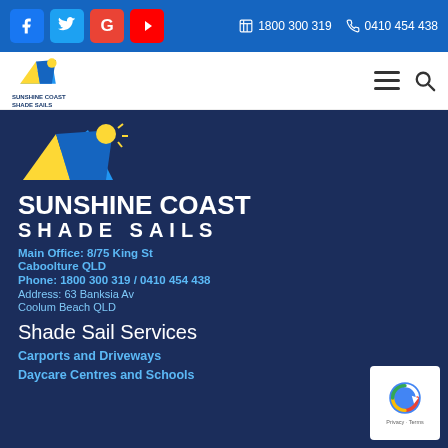Social icons: Facebook, Twitter, Google, YouTube | 1800 300 319 | 0410 454 438
[Figure (logo): Sunshine Coast Shade Sails logo in navigation bar]
[Figure (logo): Sunshine Coast Shade Sails main logo with triangular sail graphic in blue, yellow and white]
SUNSHINE COAST SHADE SAILS
Main Office: 8/75 King St
Caboolture QLD
Phone: 1800 300 319 / 0410 454 438
Address: 63 Banksia Av
Coolum Beach QLD
Shade Sail Services
Carports and Driveways
Daycare Centres and Schools